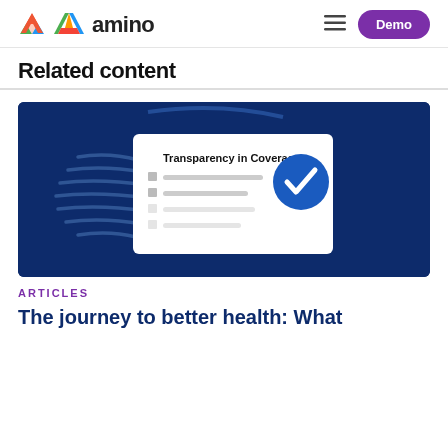amino | Demo
Related content
[Figure (illustration): Dark blue background illustration showing a 'Transparency in Coverage' checklist card with a blue circle checkmark, and wave/shield decorative elements in the background.]
ARTICLES
The journey to better health: What